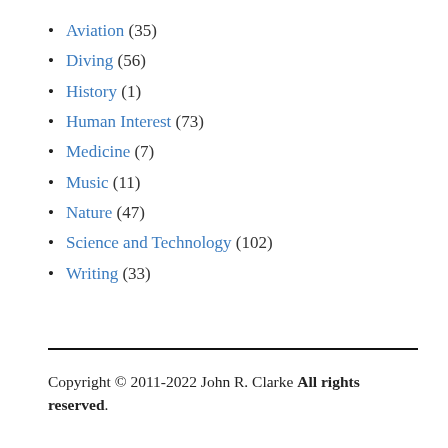Aviation (35)
Diving (56)
History (1)
Human Interest (73)
Medicine (7)
Music (11)
Nature (47)
Science and Technology (102)
Writing (33)
Copyright © 2011-2022 John R. Clarke All rights reserved.